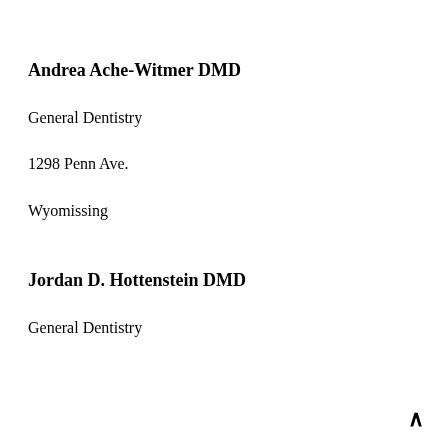Andrea Ache-Witmer DMD
General Dentistry
1298 Penn Ave.
Wyomissing
Jordan D. Hottenstein DMD
General Dentistry